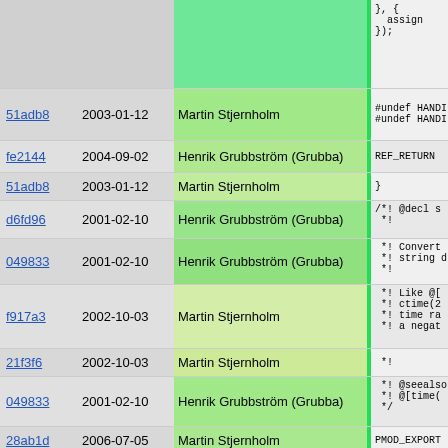| hash | date | author | code |
| --- | --- | --- | --- |
|  |  |  | },  {
  assign
}); |
| 51adb8 | 2003-01-12 | Martin Stjernholm | #undef HAND
#undef HAND |
| fe2144 | 2004-09-02 | Henrik Grubbström (Grubba) | REF_RETURN |
| 51adb8 | 2003-01-12 | Martin Stjernholm | } |
| d6fd96 | 2001-02-10 | Henrik Grubbström (Grubba) | /*! @decl s
 *! |
| 049833 | 2001-02-10 | Henrik Grubbström (Grubba) |  *! Convert
 *! string d
 *! |
| f917a3 | 2002-10-03 | Martin Stjernholm |  *! Like @[
 *! ctime(2
 *! time ra
 *! a negat |
| 21f3f6 | 2002-10-03 | Martin Stjernholm |  *! |
| 049833 | 2001-02-10 | Henrik Grubbström (Grubba) |  *! @seealso
 *! @[time(
 */ |
| 28ab1d | 2006-07-05 | Martin Stjernholm | PMOD_EXPORT |